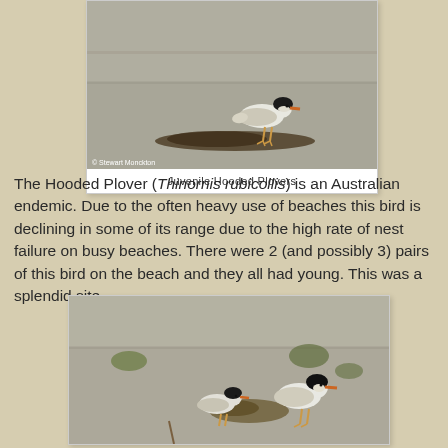[Figure (photo): Juvenile Hooded Plover standing on a small pile of seaweed on a sandy beach. Photo credit: © Stewart Monckton]
Juvenile Hooded Plovers
The Hooded Plover (Thinornis rubicollis) is an Australian endemic. Due to the often heavy use of beaches this bird is declining in some of its range due to the high rate of nest failure on busy beaches. There were 2 (and possibly 3) pairs of this bird on the beach and they all had young. This was a splendid site.
[Figure (photo): Two Hooded Plovers on a sandy beach with green seaweed tufts scattered around. One bird has a distinctive black hood. Partial image cut off at bottom of page.]